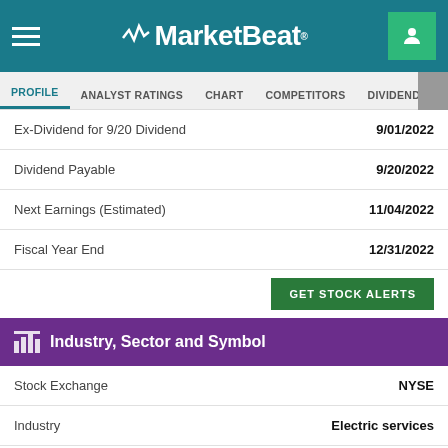MarketBeat
| Field | Value |
| --- | --- |
| Ex-Dividend for 9/20 Dividend | 9/01/2022 |
| Dividend Payable | 9/20/2022 |
| Next Earnings (Estimated) | 11/04/2022 |
| Fiscal Year End | 12/31/2022 |
Industry, Sector and Symbol
| Field | Value |
| --- | --- |
| Stock Exchange | NYSE |
| Industry | Electric services |
| Sub-Industry | Multi-Utilities |
| Sector | Utilities |
| Current Symbol | NYSE:D |
| CUSIP | 25746U10 |
| CIK | 715057 |